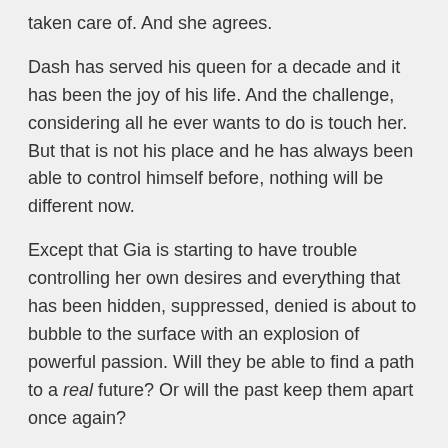taken care of. And she agrees.
Dash has served his queen for a decade and it has been the joy of his life. And the challenge, considering all he ever wants to do is touch her. But that is not his place and he has always been able to control himself before, nothing will be different now.
Except that Gia is starting to have trouble controlling her own desires and everything that has been hidden, suppressed, denied is about to bubble to the surface with an explosion of powerful passion. Will they be able to find a path to a real future? Or will the past keep them apart once again?
Content Warning: Emotional abuse (described)
Coming Soon:
Order Amazon